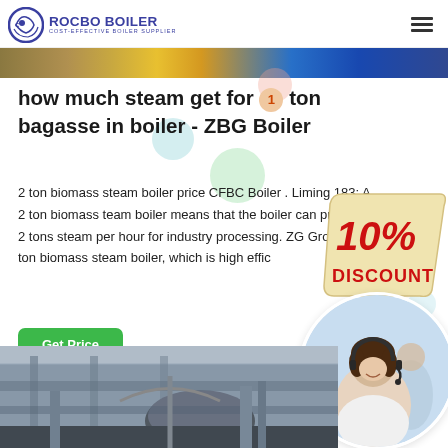ROCBO BOILER — COST-EFFECTIVE BOILER SUPPLIER
[Figure (photo): Top banner image strip showing industrial boiler equipment and a yellow container/truck]
how much steam get for 1 ton bagasse in boiler - ZBG Boiler
2 ton biomass steam boiler price CFBC Boiler . Liming 183; A 2 ton biomass team boiler means that the boiler can produce 2 tons steam per hour for industry processing. ZG Group 75 ton biomass steam boiler, which is high effic
[Figure (infographic): 10% DISCOUNT promotional badge in red text on cream/tan shaped banner]
[Figure (photo): Customer service representative woman with headset smiling, circular framed photo]
[Figure (photo): Bottom image showing industrial boiler machinery/equipment interior]